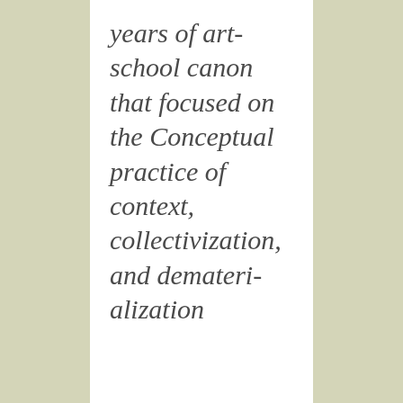years of art-school canon that focused on the Conceptual practice of context, collectivization, and dematerialization